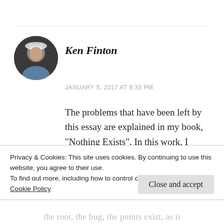[Figure (photo): Circular avatar photo of Ken Finton, an older man wearing a hat, outdoors]
Ken Finton
JANUARY 5, 2017 AT 9:33 PM
The problems that have been left by this essay are explained in my book, “Nothing Exists”. In this work, I conclude that the notion and statement that nothing exists includes the fact that
Privacy & Cookies: This site uses cookies. By continuing to use this website, you agree to their use.
To find out more, including how to control cookies, see here:
Cookie Policy
Close and accept
the root, the bug, the points exist, as it